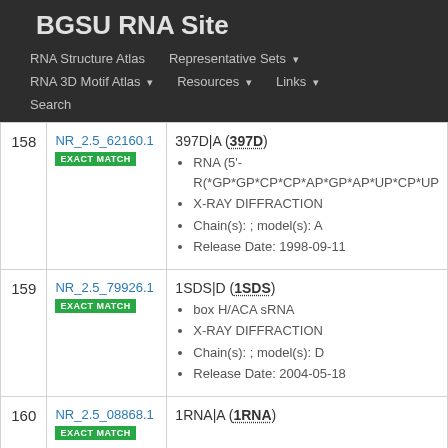BGSU RNA Site
RNA Structure Atlas | Representative Sets ▾ | RNA 3D Motif Atlas ▾ | Resources ▾ | Links ▾ | Search
| # | ID | Details |
| --- | --- | --- |
| 158 | NR_2.5_62160.1
EXACT MATCH | 397D|A (397D)
• RNA (5'-R(*GP*GP*CP*CP*AP*GP*AP*UP*CP*UP...
• X-RAY DIFFRACTION
• Chain(s): ; model(s): A
• Release Date: 1998-09-11 |
| 159 | NR_2.5_79926.1
EXACT MATCH | 1SDS|D (1SDS)
• box H/ACA sRNA
• X-RAY DIFFRACTION
• Chain(s): ; model(s): D
• Release Date: 2004-05-18 |
| 160 | NR_2.5_08868.1
EXACT MATCH | 1RNA|A (1RNA) |